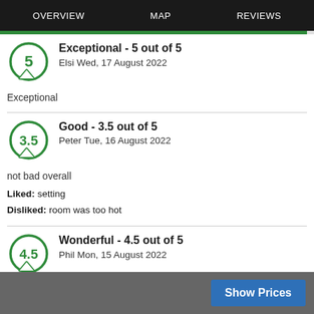OVERVIEW   MAP   REVIEWS
Exceptional - 5 out of 5
Elsi Wed, 17 August 2022
Exceptional
Good - 3.5 out of 5
Peter Tue, 16 August 2022
not bad overall
Liked: setting
Disliked: room was too hot
Wonderful - 4.5 out of 5
Phil Mon, 15 August 2022
Superb
Show Prices